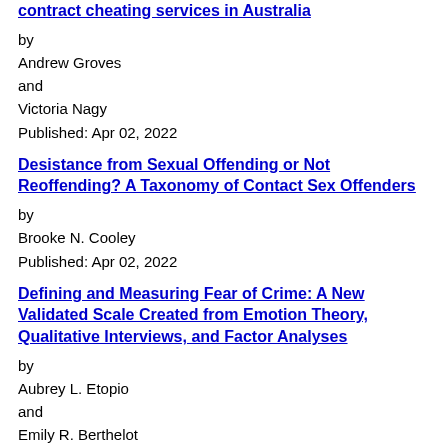contract cheating services in Australia
by
Andrew Groves
and
Victoria Nagy
Published: Apr 02, 2022
Desistance from Sexual Offending or Not Reoffending? A Taxonomy of Contact Sex Offenders
by
Brooke N. Cooley
Published: Apr 02, 2022
Defining and Measuring Fear of Crime: A New Validated Scale Created from Emotion Theory, Qualitative Interviews, and Factor Analyses
by
Aubrey L. Etopio
and
Emily R. Berthelot
Published: Apr 02, 2022